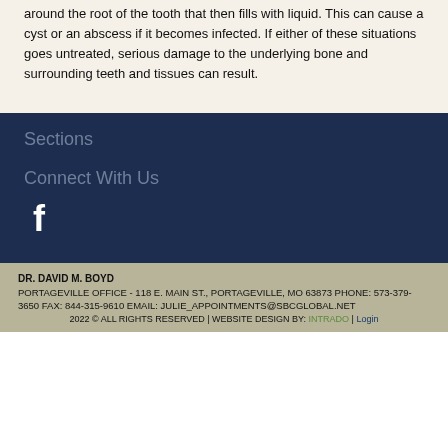around the root of the tooth that then fills with liquid. This can cause a cyst or an abscess if it becomes infected. If either of these situations goes untreated, serious damage to the underlying bone and surrounding teeth and tissues can result.
Sections
Connect With Us
[Figure (logo): Facebook icon - white letter f on dark blue background]
DR. DAVID M. BOYD PORTAGEVILLE OFFICE - 118 E. MAIN ST., PORTAGEVILLE, MO 63873 PHONE: 573-379-3650 FAX: 844-315-9610 EMAIL: JULIE_APPOINTMENTS@SBCGLOBAL.NET 2022 © ALL RIGHTS RESERVED | WEBSITE DESIGN BY: INTRADO | Login